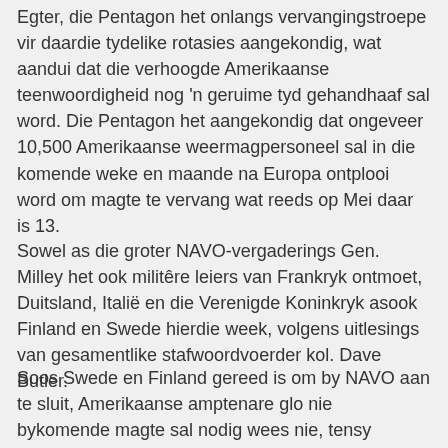Egter, die Pentagon het onlangs vervangingstroepe vir daardie tydelike rotasies aangekondig, wat aandui dat die verhoogde Amerikaanse teenwoordigheid nog 'n geruime tyd gehandhaaf sal word. Die Pentagon het aangekondig dat ongeveer 10,500 Amerikaanse weermagpersoneel sal in die komende weke en maande na Europa ontplooi word om magte te vervang wat reeds op Mei daar is 13.
Sowel as die groter NAVO-vergaderings Gen. Milley het ook militêre leiers van Frankryk ontmoet, Duitsland, Italië en die Verenigde Koninkryk asook Finland en Swede hierdie week, volgens uitlesings van gesamentlike stafwoordvoerder kol. Dave Butler.
Soos Swede en Finland gereed is om by NAVO aan te sluit, Amerikaanse amptenare glo nie bykomende magte sal nodig wees nie, tensy Rusland skielik 'n bedreiging vir die twee Nordiese lande inhou. As Rusland wapens sou skuif of ernstige dreigemente sou maak om wapens nader te skuif, die